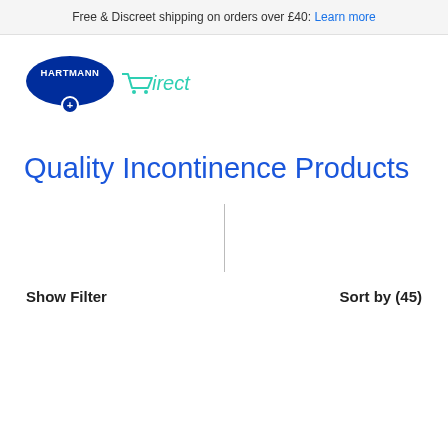Free & Discreet shipping on orders over £40: Learn more
[Figure (logo): Hartmann Direct logo — dark blue oval with HARTMANN text and a plus symbol, followed by italic teal 'Direct' text with a cart icon]
Quality Incontinence Products
Show Filter
Sort by (45)